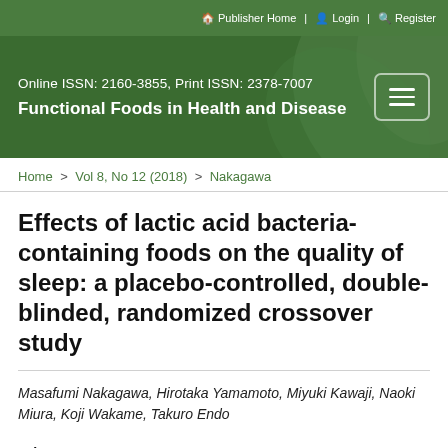Publisher Home | Login | Register
Online ISSN: 2160-3855, Print ISSN: 2378-7007
Functional Foods in Health and Disease
Home > Vol 8, No 12 (2018) > Nakagawa
Effects of lactic acid bacteria-containing foods on the quality of sleep: a placebo-controlled, double-blinded, randomized crossover study
Masafumi Nakagawa, Hirotaka Yamamoto, Miyuki Kawaji, Naoki Miura, Koji Wakame, Takuro Endo
Abstract